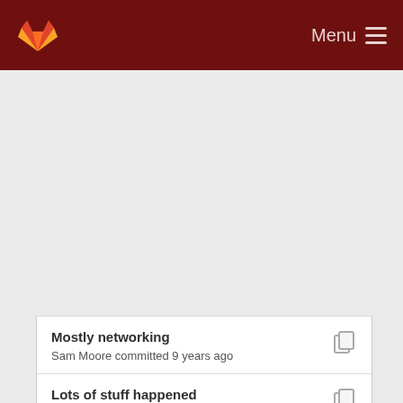[Figure (screenshot): GitLab mobile navigation header with fox logo and Menu hamburger icon on dark red background]
Lots of stuff happened
Sam Moore committed 9 years ago
Mostly networking
Sam Moore committed 9 years ago
Lots of stuff happened
Sam Moore committed 9 years ago